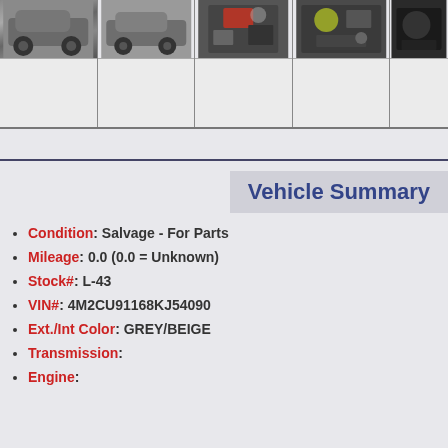[Figure (photo): Grid of vehicle photos: grey SUV exterior left view, grey SUV exterior right view, engine bay photo 1, engine bay photo 2, partial dark/cropped photo. Each cell has a top photo section and empty bottom section.]
Vehicle Summary
Condition: Salvage - For Parts
Mileage: 0.0 (0.0 = Unknown)
Stock#: L-43
VIN#: 4M2CU91168KJ54090
Ext./Int Color: GREY/BEIGE
Transmission:
Engine: